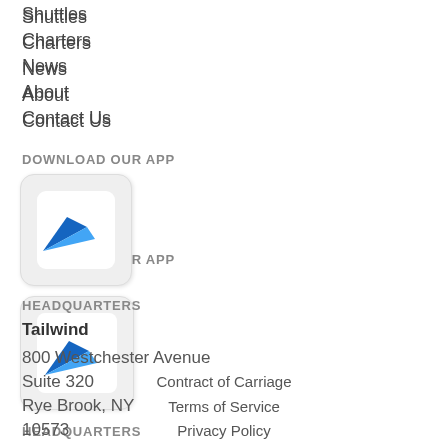Shuttles
Charters
News
About
Contact Us
DOWNLOAD OUR APP
[Figure (logo): Tailwind app icon with blue wing/sail logo on white/light grey background]
HEADQUARTERS
Tailwind
800 Westchester Avenue
Suite 320
Rye Brook, NY
10573
Contract of Carriage
Terms of Service
Privacy Policy